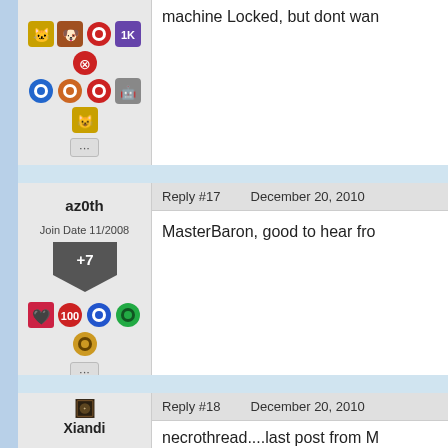[Figure (screenshot): Partial forum post top - user panel with badges and content showing 'machine Locked, but dont wan']
Reply #17    December 20, 2010
az0th
Join Date 11/2008
+7
MasterBaron, good to hear fro
Reply #18    December 20, 2010
Xiandi
Join Date 07/2007
necrothread....last post from M